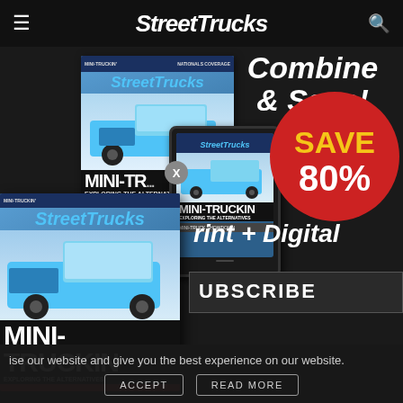StreetTrucks
[Figure (illustration): Stack of Street Trucks magazine print covers featuring a blue mini-truck on cover, with a tablet device showing digital edition]
Combine & Save!
[Figure (infographic): Red circular badge reading SAVE 80%]
Print + Digital
SUBSCRIBE
CURRENT ISSUE
ise our website and give you the best experience on our website.
ACCEPT
READ MORE